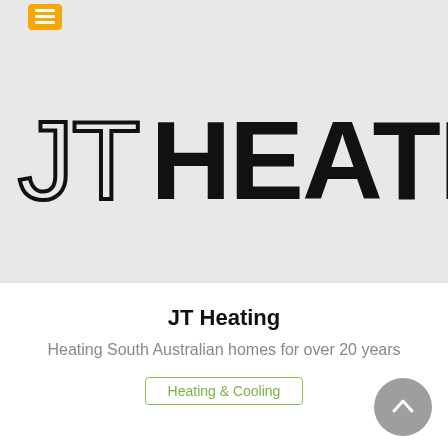[Figure (logo): JT Heating company logo on gray background — 'JT' in outline style and 'HEATING' in bold black, large text]
JT Heating
Heating South Australian homes for over 20 years
Heating & Cooling